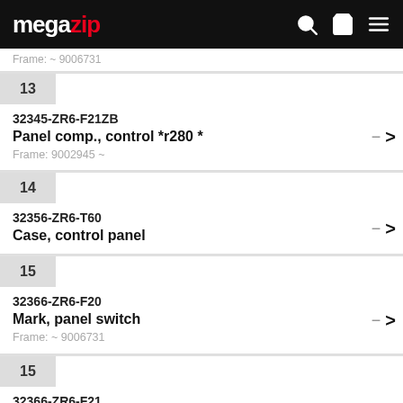megazip
Frame: ~ 9006731
13 | 32345-ZR6-F21ZB | Panel comp., control *r280 * | Frame: 9002945 ~
14 | 32356-ZR6-T60 | Case, control panel
15 | 32366-ZR6-F20 | Mark, panel switch | Frame: ~ 9006731
15 | 32366-ZR6-F21 | Mark, panel switch